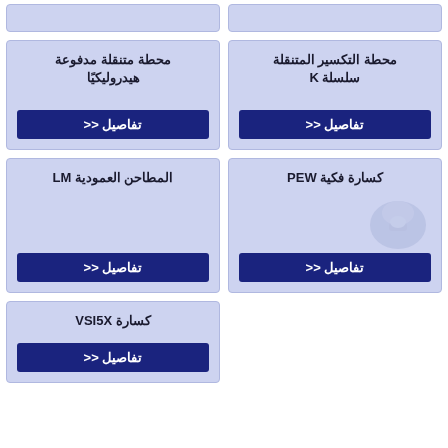[Figure (other): Partial card top stub left]
[Figure (other): Partial card top stub right]
محطة متنقلة مدفوعة هيدروليكيًا
تفاصيل <<
محطة التكسير المتنقلة سلسلة K
تفاصيل <<
المطاحن العمودية LM
تفاصيل <<
كسارة فكية PEW
تفاصيل <<
كسارة VSI5X
تفاصيل <<